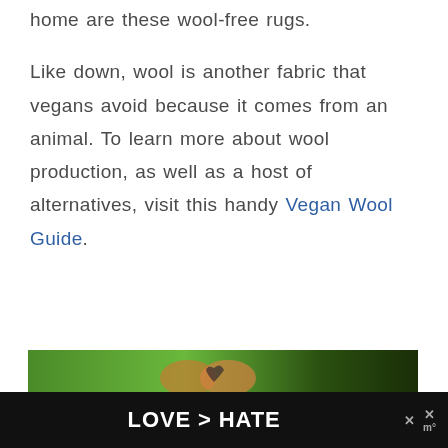home are these wool-free rugs.
Like down, wool is another fabric that vegans avoid because it comes from an animal. To learn more about wool production, as well as a host of alternatives, visit this handy Vegan Wool Guide.
[Figure (photo): Advertisement banner at bottom of page showing hands forming a heart shape outdoors with text LOVE > HATE on a dark background]